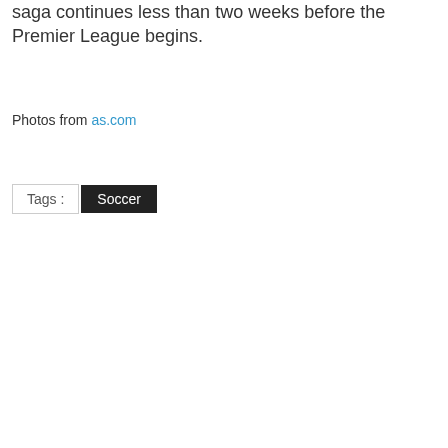saga continues less than two weeks before the Premier League begins.
Photos from as.com
Tags : Soccer